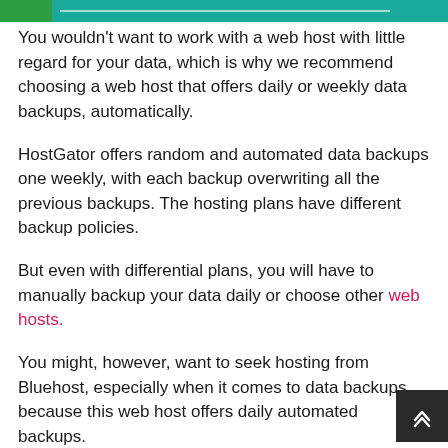[Figure (other): Teal navigation header bar with green block on left and white horizontal line]
You wouldn't want to work with a web host with little regard for your data, which is why we recommend choosing a web host that offers daily or weekly data backups, automatically.
HostGator offers random and automated data backups one weekly, with each backup overwriting all the previous backups. The hosting plans have different backup policies.
But even with differential plans, you will have to manually backup your data daily or choose other web hosts.
You might, however, want to seek hosting from Bluehost, especially when it comes to data backups because this web host offers daily automated backups.